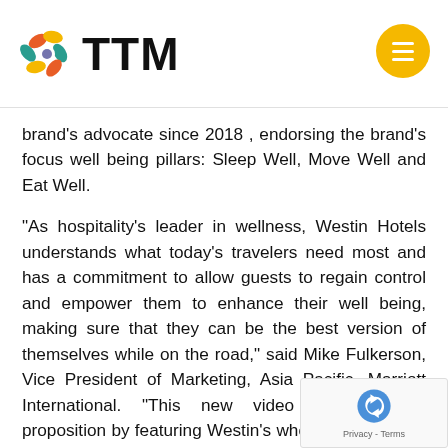TTM
brand's advocate since 2018 , endorsing the brand's focus well being pillars: Sleep Well, Move Well and Eat Well.
“As hospitality’s leader in wellness, Westin Hotels understands what today’s travelers need most and has a commitment to allow guests to regain control and empower them to enhance their well being, making sure that they can be the best version of themselves while on the road,” said Mike Fulkerson, Vice President of Marketing, Asia Pacific, Marriott International. “This new video solidifies our proposition by featuring Westin’s wholesome lifestyle from Move Well and Eat Well experiences to the ultimate comfortable Sleep Well expe… empowered by the brand’s signature Hea… Bed through Huang’s perspective during